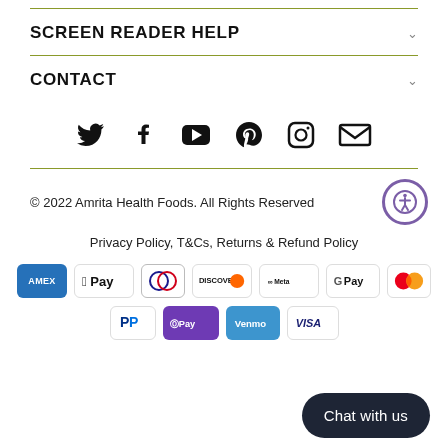SCREEN READER HELP
CONTACT
[Figure (infographic): Social media icons row: Twitter, Facebook, YouTube, Pinterest, Instagram, Email]
© 2022 Amrita Health Foods. All Rights Reserved
Privacy Policy, T&Cs, Returns & Refund Policy
[Figure (infographic): Payment method logos: AMEX, Apple Pay, Diners Club, Discover, Meta Pay, Google Pay, Mastercard, PayPal, OPay, Venmo, VISA]
Chat with us